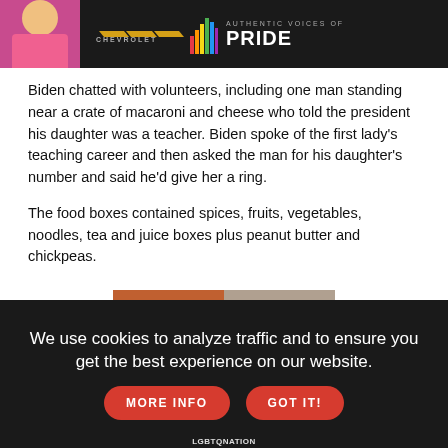[Figure (photo): Chevrolet Authentic Voices of Pride advertisement banner with a woman on a dark background]
Biden chatted with volunteers, including one man standing near a crate of macaroni and cheese who told the president his daughter was a teacher. Biden spoke of the first lady's teaching career and then asked the man for his daughter's number and said he'd give her a ring.
The food boxes contained spices, fruits, vegetables, noodles, tea and juice boxes plus peanut butter and chickpeas.
[Figure (photo): Two portrait photos side by side: left shows a person with large curly hair and colorful makeup wearing pink, right shows a young man smiling in a dark shirt. LGBTQ Nation watermark.]
We use cookies to analyze traffic and to ensure you get the best experience on our website.